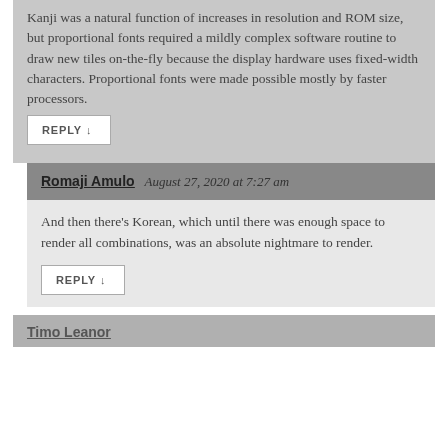Kanji was a natural function of increases in resolution and ROM size, but proportional fonts required a mildly complex software routine to draw new tiles on-the-fly because the display hardware uses fixed-width characters. Proportional fonts were made possible mostly by faster processors.
REPLY ↓
Romaji Amulo  August 27, 2020 at 7:27 am
And then there's Korean, which until there was enough space to render all combinations, was an absolute nightmare to render.
REPLY ↓
Timo Leanor